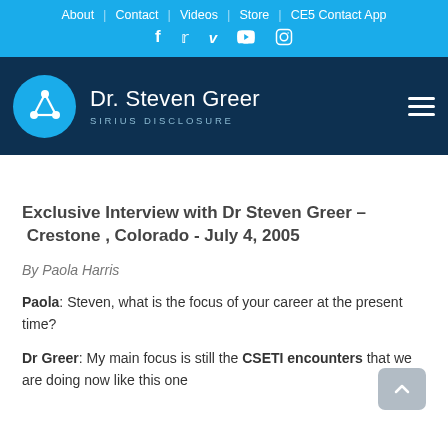About | Contact | Videos | Store | CE5 Contact App
[Figure (logo): Dr. Steven Greer Sirius Disclosure website header with blue circle logo and navigation]
Exclusive Interview with Dr Steven Greer – Crestone , Colorado - July 4, 2005
By Paola Harris
Paola: Steven, what is the focus of your career at the present time?
Dr Greer: My main focus is still the CSETI encounters that we are doing now like this one